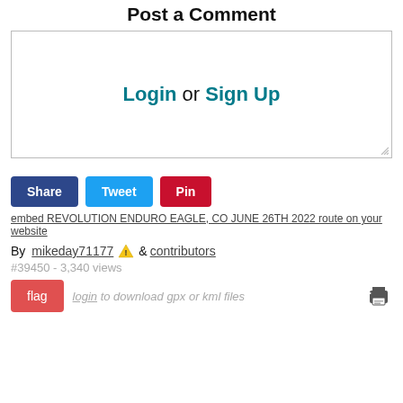Post a Comment
[Figure (other): Comment text area box with 'Login or Sign Up' link in the center, with a resize handle in the bottom right corner]
[Figure (other): Three social sharing buttons: Share (dark blue), Tweet (light blue), Pin (red)]
embed REVOLUTION ENDURO EAGLE, CO JUNE 26TH 2022 route on your website
By mikeday71177 [warning icon] & contributors
#39450 - 3,340 views
flag   login to download gpx or kml files   [print icon]